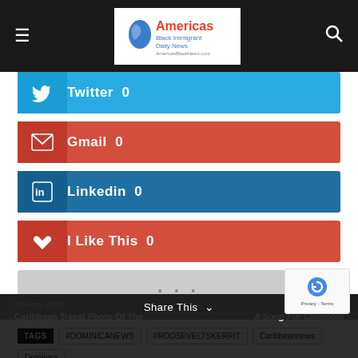Americas Black Immigrant Daily News
Twitter  0
Gmail  0
Linkedin  0
I Like This  0
[Figure (other): Ellipsis dots row (more sharing options)]
TAGS  #DOMINICANEWS  #ROOSEVELTSKERRIT  Caribbeannews  Dominica
Previous article: Caribbean Travel Photo Of The ...  |  Next article: A Song For Colombia  |  Share This